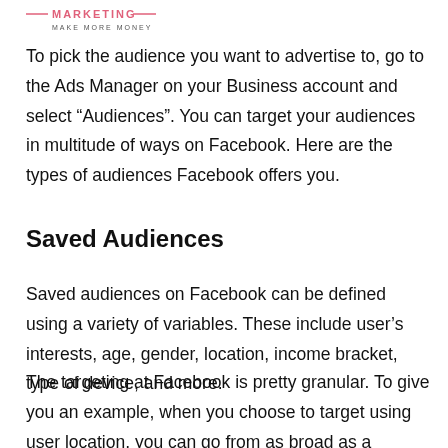[Figure (logo): Marketing logo with text 'MARKETING' and tagline 'MAKE MORE MONEY']
To pick the audience you want to advertise to, go to the Ads Manager on your Business account and select “Audiences”. You can target your audiences in multitude of ways on Facebook. Here are the types of audiences Facebook offers you.
Saved Audiences
Saved audiences on Facebook can be defined using a variety of variables. These include user’s interests, age, gender, location, income bracket, type of device, and more.
The targeting at Facebook is pretty granular. To give you an example, when you choose to target using user location, you can go from as broad as a country to as narrow as an